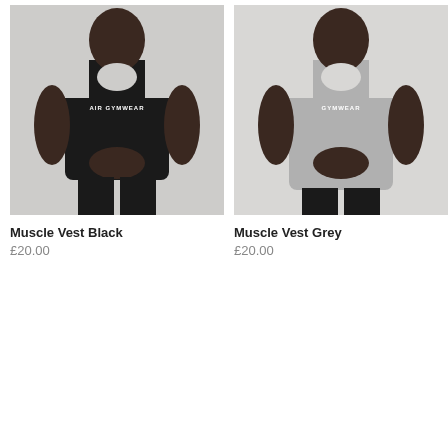[Figure (photo): Man wearing black muscle vest with 'AIR GYMWEAR' text on chest, black joggers, white background]
Muscle Vest Black
£20.00
[Figure (photo): Man wearing grey muscle vest with 'GYMWEAR' text on chest, black joggers, white background]
Muscle Vest Grey
£20.00